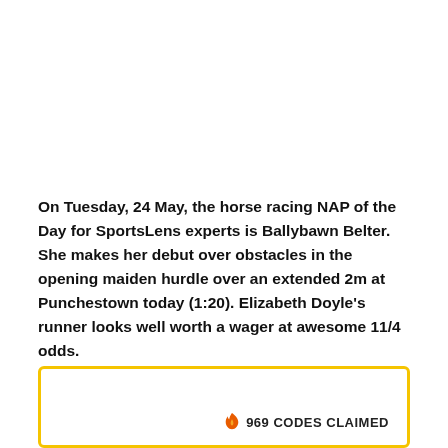On Tuesday, 24 May, the horse racing NAP of the Day for SportsLens experts is Ballybawn Belter. She makes her debut over obstacles in the opening maiden hurdle over an extended 2m at Punchestown today (1:20). Elizabeth Doyle's runner looks well worth a wager at awesome 11/4 odds.
[Figure (other): Promotional box with gold/yellow border and '969 CODES CLAIMED' text with flame icon]